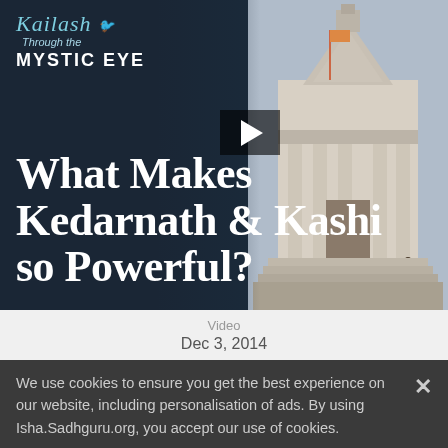[Figure (screenshot): Video thumbnail for 'Kailash Through the Mystic Eye' series. Dark blue gradient background on the left with a temple photo on the right showing a stone Hindu temple (Kedarnath/Kashi). A play button is visible in the center. Logo in upper left reads 'Kailash Through the MYSTIC EYE'.]
What Makes Kedarnath & Kashi so Powerful?
Video
Dec 3, 2014
We use cookies to ensure you get the best experience on our website, including personalisation of ads. By using Isha.Sadhguru.org, you accept our use of cookies.